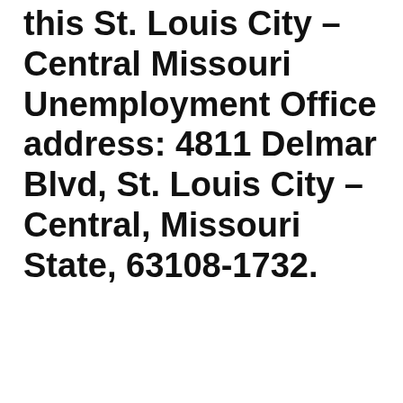this St. Louis City – Central Missouri Unemployment Office address: 4811 Delmar Blvd, St. Louis City – Central, Missouri State, 63108-1732.